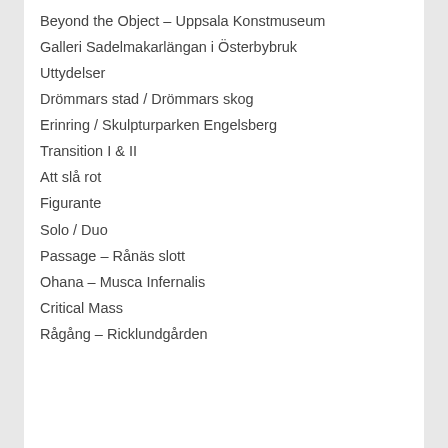Beyond the Object – Uppsala Konstmuseum
Galleri Sadelmakarlängan i Österbybruk
Uttydelser
Drömmars stad / Drömmars skog
Erinring / Skulpturparken Engelsberg
Transition I & II
Att slå rot
Figurante
Solo / Duo
Passage – Rånäs slott
Ohana – Musca Infernalis
Critical Mass
Rågång – Ricklundgården